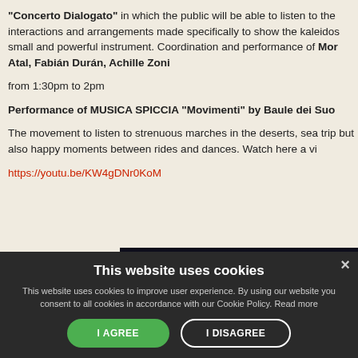"Concerto Dialogato" in which the public will be able to listen to the interactions and arrangements made specifically to show the kaleidoscopic small and powerful instrument. Coordination and performance of Mor Atal, Fabián Durán, Achille Zoni
from 1:30pm to 2pm
Performance of MUSICA SPICCIA "Movimenti" by Baule dei Suoni The movement to listen to strenuous marches in the deserts, sea trips but also happy moments between rides and dances. Watch here a video https://youtu.be/KW4gDNr0KoM
[Figure (photo): Dark photograph showing performers on a dimly lit stage]
This website uses cookies
This website uses cookies to improve user experience. By using our website you consent to all cookies in accordance with our Cookie Policy. Read more